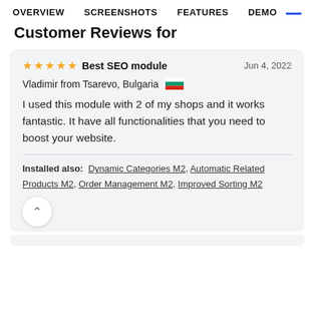OVERVIEW   SCREENSHOTS   FEATURES   DEMO
Customer Reviews for
★★★★★  Best SEO module   Jun 4, 2022
Vladimir from Tsarevo, Bulgaria 🇧🇬
I used this module with 2 of my shops and it works fantastic. It have all functionalities that you need to boost your website.
Installed also: Dynamic Categories M2, Automatic Related Products M2, Order Management M2, Improved Sorting M2